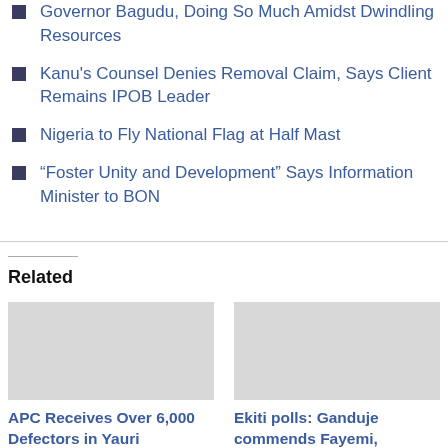Governor Bagudu, Doing So Much Amidst Dwindling Resources
Kanu's Counsel Denies Removal Claim, Says Client Remains IPOB Leader
Nigeria to Fly National Flag at Half Mast
“Foster Unity and Development” Says Information Minister to BON
Related
[Figure (photo): Image placeholder for APC Receives Over 6,000 Defectors in Yauri article]
APC Receives Over 6,000 Defectors in Yauri
August 10, 2022
In "Politics"
[Figure (photo): Image placeholder for Ekiti polls: Ganduje commends Fayemi, congratulates governor-elect article]
Ekiti polls: Ganduje commends Fayemi, congratulates governor-elect
June 20, 2022